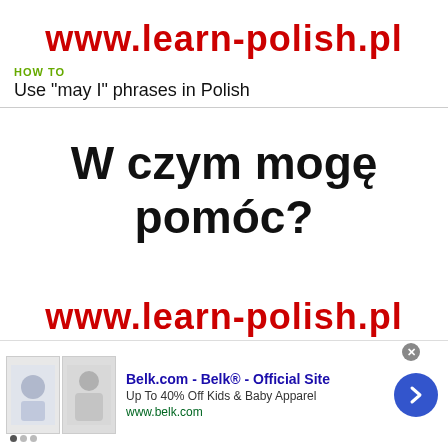www.learn-polish.pl
HOW TO
Use "may I" phrases in Polish
W czym mogę pomóc?
www.learn-polish.pl
[Figure (other): Advertisement banner: Belk.com - Belk® - Official Site. Up To 40% Off Kids & Baby Apparel. www.belk.com. Shows two children's clothing product images on left, a blue circular arrow button on right.]